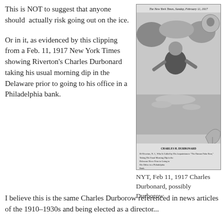This is NOT to suggest that anyone should actually risk going out on the ice.
Or in it, as evidenced by this clipping from a Feb. 11, 1917 New York Times showing Riverton’s Charles Durbonard taking his usual morning dip in the Delaware prior to going to his office in a Philadelphia bank.
[Figure (photo): Scanned New York Times newspaper clipping dated Sunday, February 11, 1917, showing a man (Charles Durbonard) standing in water (the Delaware River), appearing to take his morning dip. The image is black and white with a caption below the photo inside the clipping.]
NYT, Feb 11, 1917 Charles Durbonard, possibly Durborow
I believe this is the same Charles Durborow referenced in news articles of the 1910–1930s...